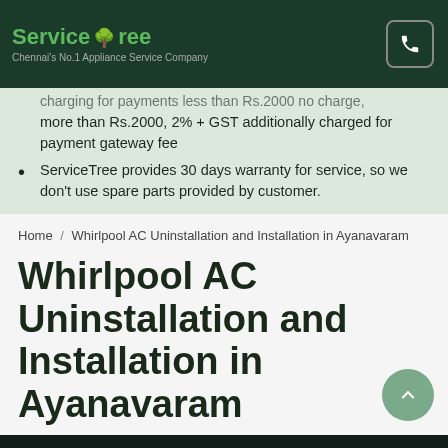ServiceTree — Chennai's No.1 Appliance Service Company
more than Rs.2000, 2% + GST additionally charged for payment gateway fee
ServiceTree provides 30 days warranty for service, so we don't use spare parts provided by customer.
Home / Whirlpool AC Uninstallation and Installation in Ayanavaram
Whirlpool AC Uninstallation and Installation in Ayanavaram
Give missed call to book 08144 948 948